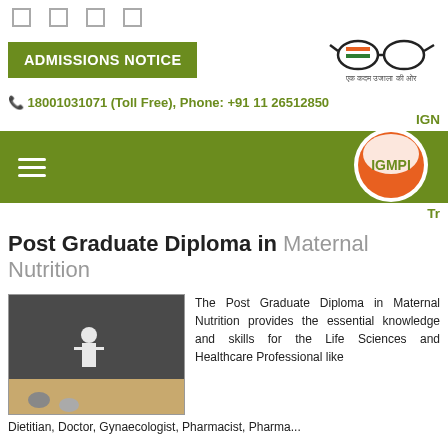ADMISSIONS NOTICE
18001031071 (Toll Free), Phone: +91 11 26512850
IGM
[Figure (logo): IGMPI logo - globe with orange base and white IGMPI text]
Tr
Post Graduate Diploma in Maternal Nutrition
[Figure (photo): A lecturer standing at a chalkboard presenting to students in a lecture hall]
The Post Graduate Diploma in Maternal Nutrition provides the essential knowledge and skills for the Life Sciences and Healthcare Professional like Dietitian, Doctor, Gynaecologist, Pharmacist, Pharmaceutical
Dietitian, Doctor, Gynaecologist, Pharmacist, Pharma...